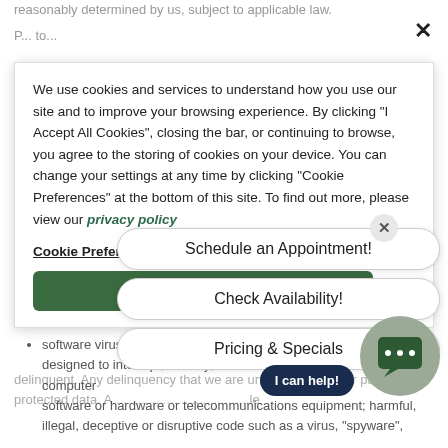reasonably determined by us, subject to applicable law.
We use cookies and services to understand how you use our site and to improve your browsing experience. By clicking "I Accept All Cookies", closing the bar, or continuing to browse, you agree to the storing of cookies on your device. You can change your settings at any time by clicking "Cookie Preferences" at the bottom of this site. To find out more, please view our privacy policy
Cookie Preferences
I Accept All Cookies
Schedule an Appointment!
Check Availability!
Pricing & Specials
I can help!
of a type that you do not have a right to transmit under contractual or fiduciary relationships, such as inside information, proprietary and confidential information;
unsolicited, undisclosed or unauthorized advertising;
software viruses or any other computer code, files, or programs designed to interrupt, destroy, or limit the functionality of any computer software or hardware or telecommunications equipment; harmful, illegal, deceptive or disruptive code such as a virus, "spyware",